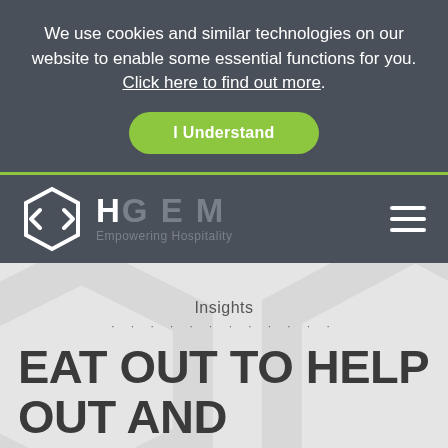We use cookies and similar technologies on our website to enable some essential functions for you. Click here to find out more.
I Understand
[Figure (logo): HGEM logo — hexagon shape with H letter inside, text 'H GEM' and 'Empowering Hospitality']
Insights
EAT OUT TO HELP OUT AND BEYOND